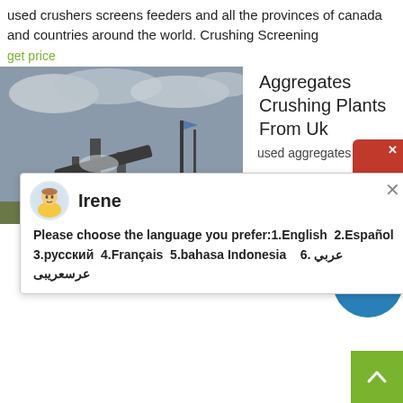used crushers screens feeders and all the provinces of canada and countries around the world. Crushing Screening
get price
[Figure (photo): Industrial crushing/screening plant with machinery and cloudy sky]
Aggregates Crushing Plants From Uk
used aggregates
[Figure (screenshot): Chat popup with avatar of Irene and language selection message]
UK quarrying industry good practice. crushing plant also helps to reduce Inquire Now; Construction aggregate . Construction aggregate, manufacturing plants, government and institutional buildings, and others), 25% for Recycled aggregate production in the UK History· Inquire Now
get price
[Figure (photo): Building/structure with blue sky background]
Used Aggregates Crushing Plants